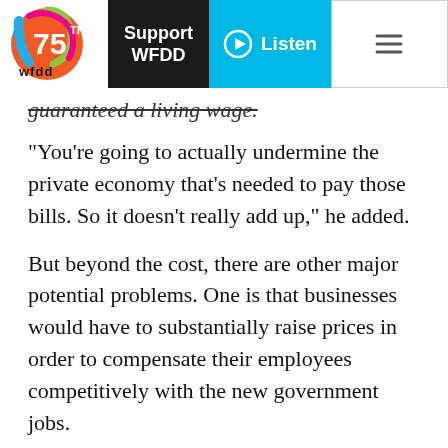WFDD 75th | Support WFDD | Listen
guaranteed a living wage.
"You're going to actually undermine the private economy that's needed to pay those bills. So it doesn't really add up," he added.
But beyond the cost, there are other major potential problems. One is that businesses would have to substantially raise prices in order to compensate their employees competitively with the new government jobs.
It's also possible that the federal government, by investing all this money into the labor market, would crowd out the private sector, competing with businesses for labor and stifling growth.
But experts say the reality is a bit...